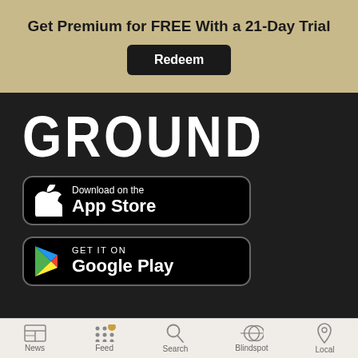Get Premium for FREE With a 21-Day Trial
Redeem
[Figure (logo): GROUND app logo in large white condensed bold uppercase text on dark background]
[Figure (screenshot): Download on the App Store button - black rounded rectangle with Apple logo]
[Figure (screenshot): GET IT ON Google Play button - black rounded rectangle with Google Play triangle logo]
News  Feed  Search  Blindspot  Local